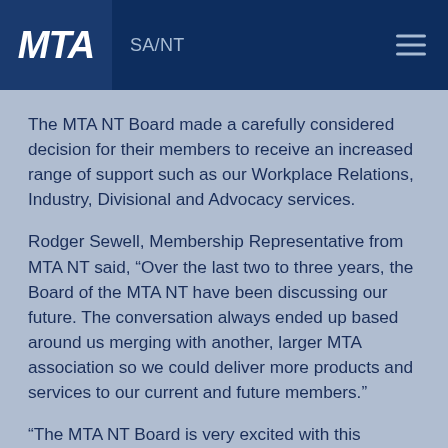MTA SA/NT
The MTA NT Board made a carefully considered decision for their members to receive an increased range of support such as our Workplace Relations, Industry, Divisional and Advocacy services.
Rodger Sewell, Membership Representative from MTA NT said, “Over the last two to three years, the Board of the MTA NT have been discussing our future. The conversation always ended up based around us merging with another, larger MTA association so we could deliver more products and services to our current and future members.”
“The MTA NT Board is very excited with this agreement with MTA SA as it provides an ability to supply a much bigger menu of products to all our